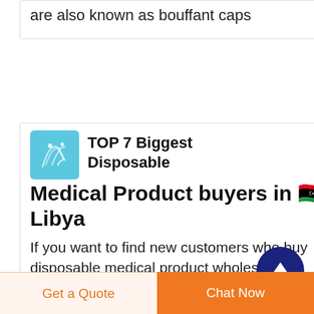are also known as bouffant caps
TOP 7 Biggest Disposable Medical Product buyers in 🇱🇾 Libya
If you want to find new customers who buy disposable medical product wholesale Almalakeya Allibeyah For Imp Feeding tube 4 disposable medical devic es 28 Endotracheal tube cuffed 4 5 disposable medical devices 16 Suction catheter 6
Get a Quote
Chat Now